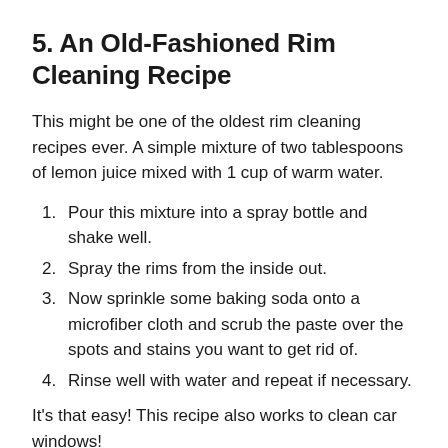5. An Old-Fashioned Rim Cleaning Recipe
This might be one of the oldest rim cleaning recipes ever. A simple mixture of two tablespoons of lemon juice mixed with 1 cup of warm water.
Pour this mixture into a spray bottle and shake well.
Spray the rims from the inside out.
Now sprinkle some baking soda onto a microfiber cloth and scrub the paste over the spots and stains you want to get rid of.
Rinse well with water and repeat if necessary.
It's that easy! This recipe also works to clean car windows!